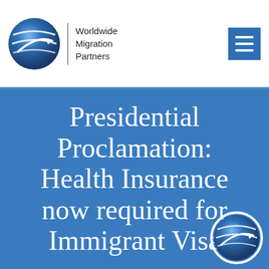[Figure (logo): Worldwide Migration Partners globe logo with blue swirl and white arrow, alongside company name text]
Presidential Proclamation: Health Insurance now required for Immigrant Visa
[Figure (logo): Worldwide Migration Partners watermark globe logo, bottom right corner of blue section]